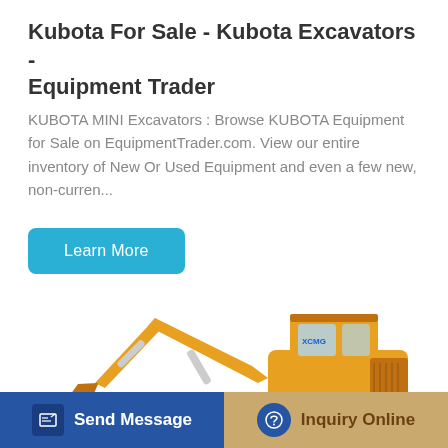Kubota For Sale - Kubota Excavators - Equipment Trader
KUBOTA MINI Excavators : Browse KUBOTA Equipment for Sale on EquipmentTrader.com. View our entire inventory of New Or Used Equipment and even a few new, non-curren...
Learn More
[Figure (photo): Yellow XCMG XE150D excavator on white background, showing the full machine profile with arm extended and bucket at ground level.]
Send Message
Inquiry Online